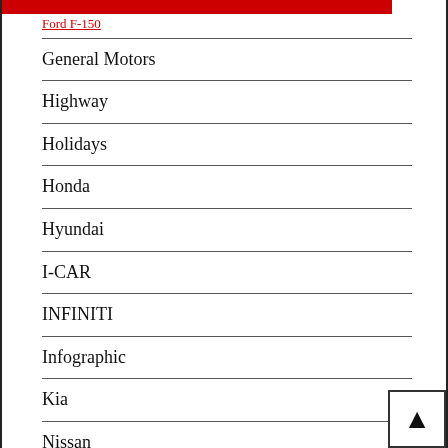Ford F-150
General Motors
Highway
Holidays
Honda
Hyundai
I-CAR
INFINITI
Infographic
Kia
Nissan